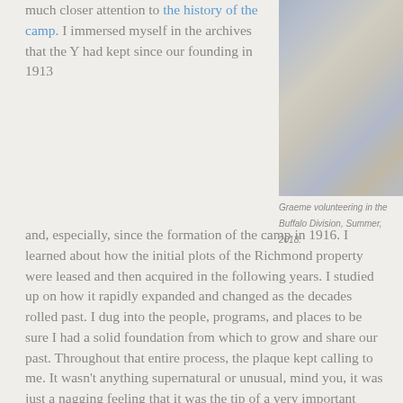much closer attention to the history of the camp. I immersed myself in the archives that the Y had kept since our founding in 1913
[Figure (photo): Group photo of Graeme volunteering with children in the Buffalo Division, Summer 2018.]
Graeme volunteering in the Buffalo Division, Summer, 2018.
and, especially, since the formation of the camp in 1916. I learned about how the initial plots of the Richmond property were leased and then acquired in the following years. I studied up on how it rapidly expanded and changed as the decades rolled past. I dug into the people, programs, and places to be sure I had a solid foundation from which to grow and share our past. Throughout that entire process, the plaque kept calling to me. It wasn't anything supernatural or unusual, mind you, it was just a nagging feeling that it was the tip of a very important story waiting to be told.